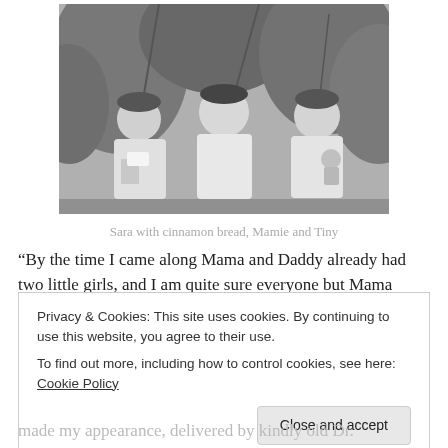[Figure (photo): Black and white photograph of three young girls outdoors among leafy plants. The girl on the left holds something white (cinnamon bread), the girl in the middle has a bowl haircut, and the girl on the right smiles holding a doll. Identified as Sara with cinnamon bread, Mamie and Tiny.]
Sara with cinnamon bread, Mamie and Tiny
“By the time I came along Mama and Daddy already had two little girls, and I am quite sure everyone but Mama
Privacy & Cookies: This site uses cookies. By continuing to use this website, you agree to their use.
To find out more, including how to control cookies, see here: Cookie Policy
made my appearance, delivered by kindly old Dr.